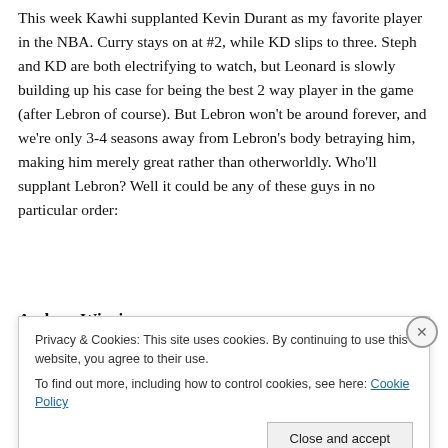This week Kawhi supplanted Kevin Durant as my favorite player in the NBA. Curry stays on at #2, while KD slips to three. Steph and KD are both electrifying to watch, but Leonard is slowly building up his case for being the best 2 way player in the game (after Lebron of course). But Lebron won't be around forever, and we're only 3-4 seasons away from Lebron's body betraying him, making him merely great rather than otherworldly. Who'll supplant Lebron? Well it could be any of these guys in no particular order:
Andrew Wiggins
Privacy & Cookies: This site uses cookies. By continuing to use this website, you agree to their use.
To find out more, including how to control cookies, see here: Cookie Policy